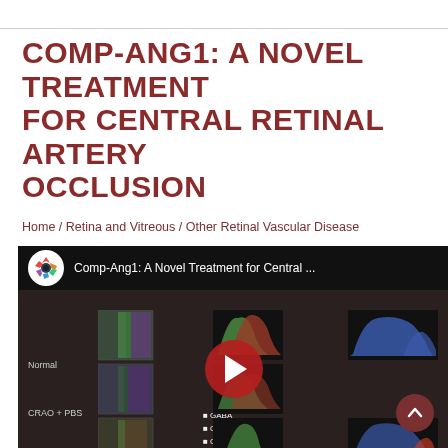COMP-ANG1: A NOVEL TREATMENT FOR CENTRAL RETINAL ARTERY OCCLUSION
Home / Retina and Vitreous / Other Retinal Vascular Disease
[Figure (screenshot): YouTube video thumbnail showing a scientific presentation slide about Comp-Ang1 treatment for Central Retinal Artery Occlusion. The slide displays microscopy images and distribution histograms for Normal, CRAO + PBS, and CRAO + conditions, with columns labeled 'Muller End-Feet' and 'GABA+ Amacrine Ca'. A YouTube play button is overlaid in the center. Legend shows GABA, Glutathione, Glycine. A scroll-to-top button appears in the lower right.]